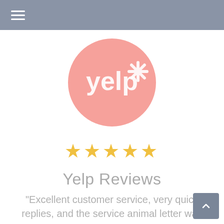☰
[Figure (logo): Yelp logo — pink circle with white 'yelp' text and white burst/asterisk symbol]
★★★★★
Yelp Reviews
"Excellent customer service, very quick replies, and the service animal letter was se..."